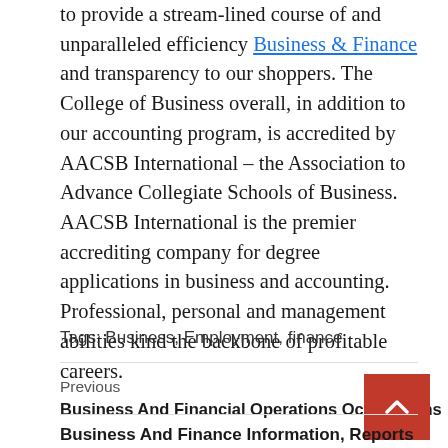to provide a stream-lined course of and unparalleled efficiency Business & Finance and transparency to our shoppers. The College of Business overall, in addition to our accounting program, is accredited by AACSB International – the Association to Advance Collegiate Schools of Business. AACSB International is the premier accrediting company for degree applications in business and accounting. Professional, personal and management abilities kind the backbone of profitable careers.
Tags: Business, Employment, finance
Previous
Business And Financial Operations Occupations
Business And Finance Information, Reports & Movies